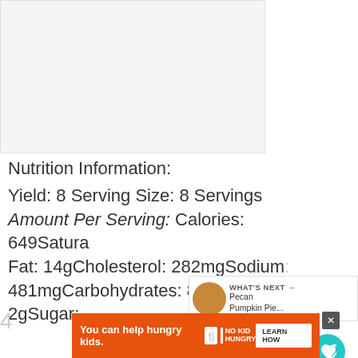[Figure (photo): Food/recipe image area (blank/light gray placeholder)]
Nutrition Information:
Yield: 8 Serving Size: 8 Servings
Amount Per Serving: Calories: 649Saturated Fat: 14gCholesterol: 282mgSodium: 481mgCarbohydrates: 80gFiber: 2gSugar:
[Figure (infographic): Social action buttons: heart icon with 1K count, share icon]
[Figure (infographic): What's Next panel with pecan pumpkin pie thumbnail and label]
[Figure (infographic): Advertisement banner: You can help hungry kids. No Kid Hungry. Learn How.]